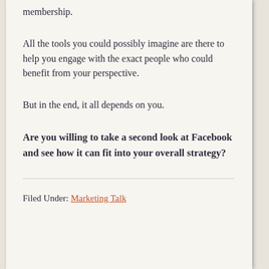membership.
All the tools you could possibly imagine are there to help you engage with the exact people who could benefit from your perspective.
But in the end, it all depends on you.
Are you willing to take a second look at Facebook and see how it can fit into your overall strategy?
Filed Under: Marketing Talk